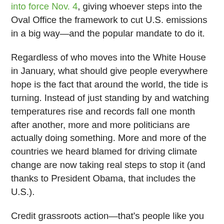into force Nov. 4, giving whoever steps into the Oval Office the framework to cut U.S. emissions in a big way—and the popular mandate to do it.
Regardless of who moves into the White House in January, what should give people everywhere hope is the fact that around the world, the tide is turning. Instead of just standing by and watching temperatures rise and records fall one month after another, more and more politicians are actually doing something. More and more of the countries we heard blamed for driving climate change are now taking real steps to stop it (and thanks to President Obama, that includes the U.S.).
Credit grassroots action—that's people like you—for driving this shift and helping create a climate where more and more officials are willing to stand up and support renewable energy or efficiency mandates or other concrete policy solutions. And when they do, it's critical that we speak up so they know the